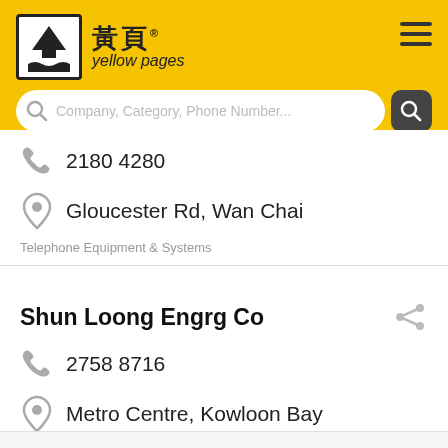[Figure (screenshot): Yellow Pages Hong Kong logo with Chinese characters 黃頁 and text 'yellow pages', in a black-bordered box]
Company, Category, Phone Number...
2180 4280
Gloucester Rd, Wan Chai
Telephone Equipment & Systems
Shun Loong Engrg Co
2758 8716
Metro Centre, Kowloon Bay
Telephone Equipment & Systems